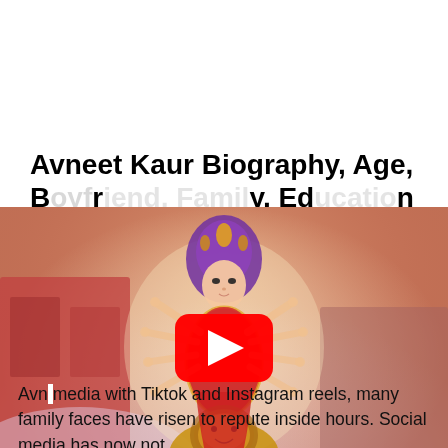Avneet Kaur Biography, Age, Boyfriend, Family, Education
[Figure (screenshot): YouTube video thumbnail showing a painting/illustration of the Hindu goddess Durga with multiple arms, seated on a lion, wearing red and gold, with an ornate crown, against a reddish atmospheric background with temple structures on the sides. A red YouTube play button is centered over the image.]
Avneet [text partially obscured] media with Tiktok and Instagram reels, many family faces have risen to repute inside hours. Social media has now not